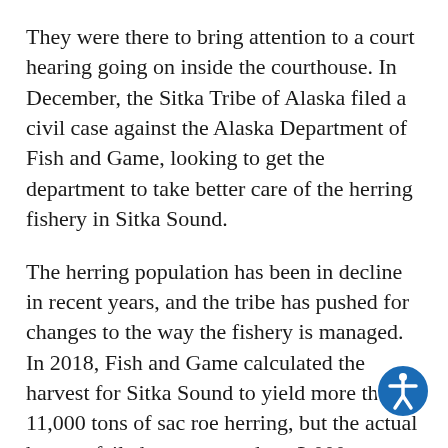They were there to bring attention to a court hearing going on inside the courthouse. In December, the Sitka Tribe of Alaska filed a civil case against the Alaska Department of Fish and Game, looking to get the department to take better care of the herring fishery in Sitka Sound.
The herring population has been in decline in recent years, and the tribe has pushed for changes to the way the fishery is managed. In 2018, Fish and Game calculated the harvest for Sitka Sound to yield more than 11,000 tons of sac roe herring, but the actual harvest failed to even produce 3,000 tons, according to a fish and game report cited in court records.
Prior to that fishing season, in Jan. 2018, the tribe brought multiple proposals to the Board of Fisheries,